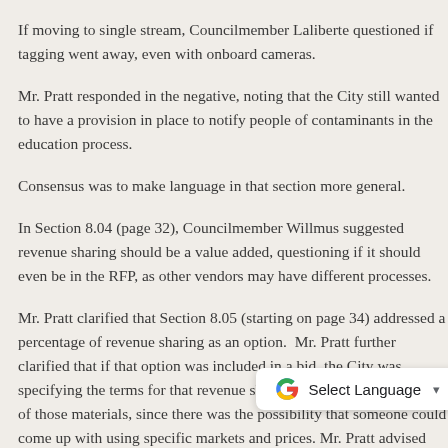If moving to single stream, Councilmember Laliberte questioned if tagging went away, even with onboard cameras.
Mr. Pratt responded in the negative, noting that the City still wanted to have a provision in place to notify people of contaminants in the education process.
Consensus was to make language in that section more general.
In Section 8.04 (page 32), Councilmember Willmus suggested revenue sharing should be a value added, questioning if it should even be in the RFP, as other vendors may have different processes.
Mr. Pratt clarified that Section 8.05 (starting on page 34) addressed a percentage of revenue sharing as an option. Mr. Pratt further clarified that if that option was included in a bid, the City was specifying the terms for that revenue sharing, in knowing the value of those materials, since there was the possibility that someone could come up with using specific markets and prices. Mr. Pratt advised that it was a placeholder for current market prices, allowing vendors coming in to know what the value pricing...